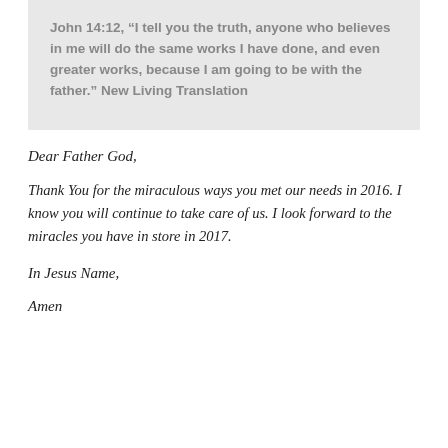John 14:12, “I tell you the truth, anyone who believes in me will do the same works I have done, and even greater works, because I am going to be with the father.” New Living Translation
Dear Father God,
Thank You for the miraculous ways you met our needs in 2016. I know you will continue to take care of us. I look forward to the miracles you have in store in 2017.
In Jesus Name,
Amen